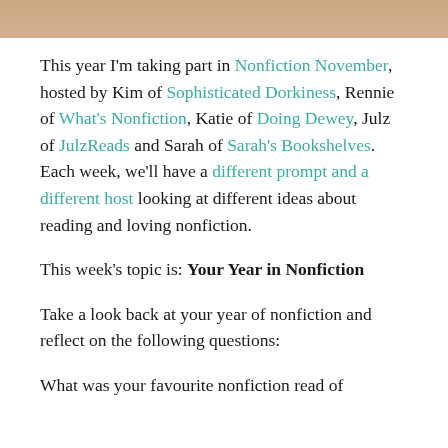[Figure (photo): Top portion of a photo, partially visible, showing warm brownish tones]
This year I'm taking part in Nonfiction November, hosted by Kim of Sophisticated Dorkiness, Rennie of What's Nonfiction, Katie of Doing Dewey, Julz of JulzReads and Sarah of Sarah's Bookshelves.  Each week, we'll have a different prompt and a different host looking at different ideas about reading and loving nonfiction.
This week's topic is: Your Year in Nonfiction
Take a look back at your year of nonfiction and reflect on the following questions:
What was your favourite nonfiction read of